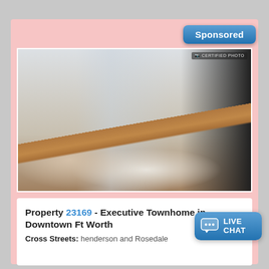[Figure (other): Blue 'Sponsored' badge button in top right of pink card]
[Figure (photo): Interior photo of an executive townhome living room with ceiling fan, large windows, sofas, and a large TV on a media console. Wood floors visible. Text 'CERTIFIED PHOTO' in top right corner.]
Property 23169 - Executive Townhome in Downtown Ft Worth
Cross Streets: henderson and Rosedale
[Figure (other): Blue 'LIVE CHAT' button with chat bubble icon in bottom right of info card]